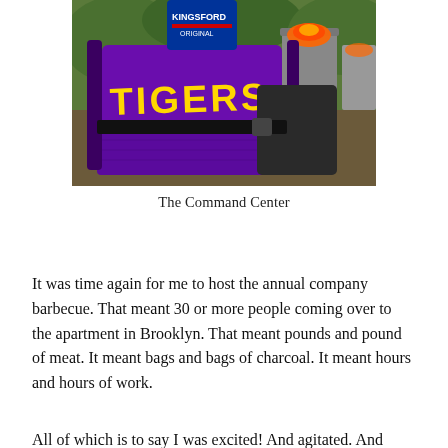[Figure (photo): A purple LSU Tigers folding chair with yellow 'TIGERS' lettering on the back, a Kingsford charcoal bag visible, and a charcoal chimney starter with lit coals in the background.]
The Command Center
It was time again for me to host the annual company barbecue. That meant 30 or more people coming over to the apartment in Brooklyn. That meant pounds and pound of meat. It meant bags and bags of charcoal. It meant hours and hours of work.
All of which is to say I was excited! And agitated. And